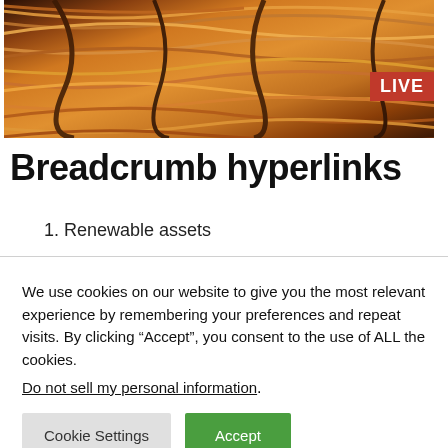[Figure (photo): Close-up photo of copper wires with warm orange and brown tones, with a red LIVE badge in the upper right corner]
Breadcrumb hyperlinks
1. Renewable assets
We use cookies on our website to give you the most relevant experience by remembering your preferences and repeat visits. By clicking “Accept”, you consent to the use of ALL the cookies.
Do not sell my personal information.